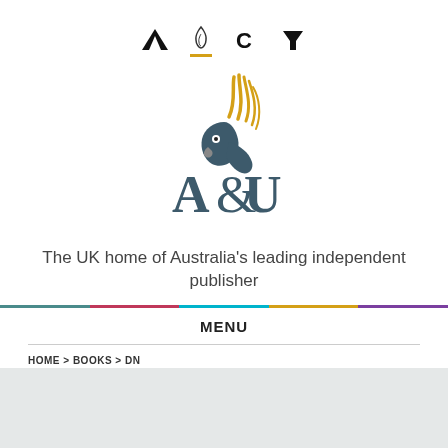[Figure (logo): Four small navigation icons: triangle/mountain, flame/feather, C letter, funnel/filter shape]
[Figure (logo): Allen & Unwin A&U logo with cockatoo bird illustration above the A&U text in dark teal and gold]
The UK home of Australia’s leading independent publisher
MENU
HOME > BOOKS > DN